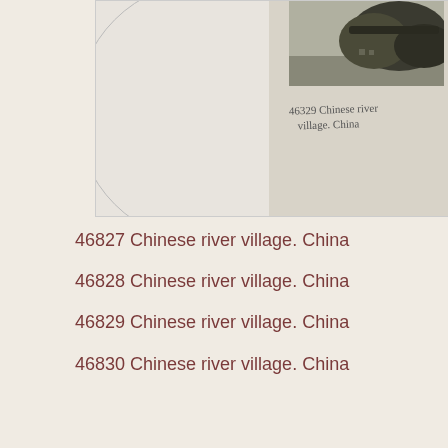[Figure (photo): Archival page showing two items: on the left, a white card with a circular arc impression, and on the right, a photographic card showing a Chinese river village with hills, with handwritten annotation reading '46829 Chinese river village. China']
46827 Chinese river village. China
46828 Chinese river village. China
46829 Chinese river village. China
46830 Chinese river village. China